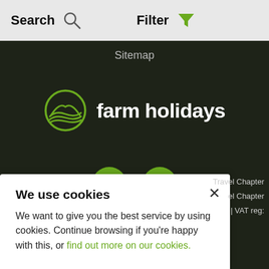Search   Filter
Sitemap
[Figure (logo): Farm Holidays logo: green circle with farm landscape lines, next to bold white text 'farm holidays']
[Figure (illustration): Social media icons: Facebook (f) and Twitter (bird) in green circles]
We use cookies
We want to give you the best service by using cookies. Continue browsing if you're happy with this, or find out more on our cookies.
Travel Chapter
el Chapter
| VAT reg: